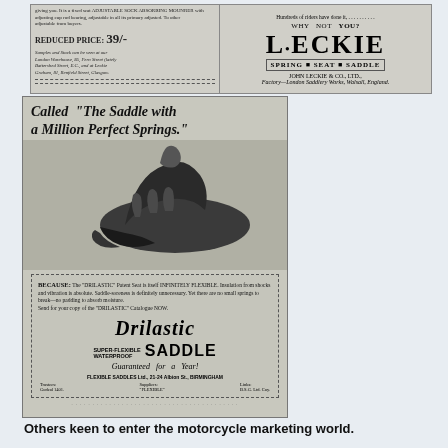[Figure (illustration): Top advertisement for Leckie Spring Seat Saddle by John Leckie & Co., Ltd. Shows reduced price of 39/- on left, and large LECKIE logo with Spring Seat Saddle subtitle on right. Factory: London Saddlery Works, Walsall, England.]
[Figure (illustration): Advertisement for Drilastic Super-Flexible Waterproof Saddle, Guaranteed for a Year. Headline reads: Called 'The Saddle with a Million Perfect Springs.' Shows photograph of a hand pressing on the saddle. Text explains the Drilastic Patent Seat is infinitely flexible with no small springs. Brand name Drilastic in large italic font. Address: Flexible Saddles Ltd, 21-24 Albion St, Birmingham.]
Others keen to enter the motorcycle marketing world.